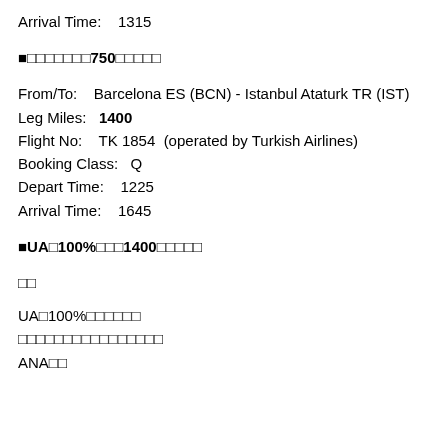Arrival Time:    1315
■□□□□□□□750□□□□□
From/To:    Barcelona ES (BCN) - Istanbul Ataturk TR (IST)
Leg Miles:    1400
Flight No:    TK 1854  (operated by Turkish Airlines)
Booking Class:    Q
Depart Time:    1225
Arrival Time:    1645
■UA□100%□□□1400□□□□□
□□
UA□100%□□□□□□
□□□□□□□□□□□□□□□□
ANA□□